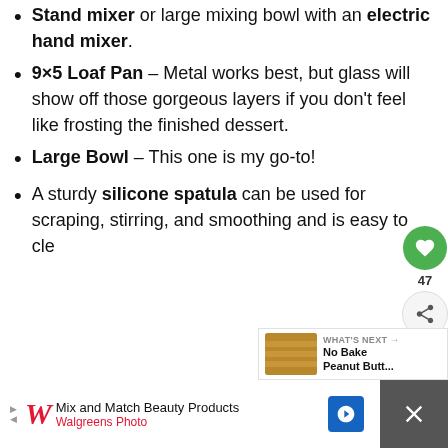Stand mixer or large mixing bowl with an electric hand mixer.
9×5 Loaf Pan – Metal works best, but glass will show off those gorgeous layers if you don't feel like frosting the finished dessert.
Large Bowl – This one is my go-to!
A sturdy silicone spatula can be used for scraping, stirring, and smoothing and is easy to cl...
[Figure (screenshot): Walgreens ad banner: Mix and Match Beauty Products, Walgreens Photo]
[Figure (screenshot): What's Next panel: No Bake Peanut Butt...]